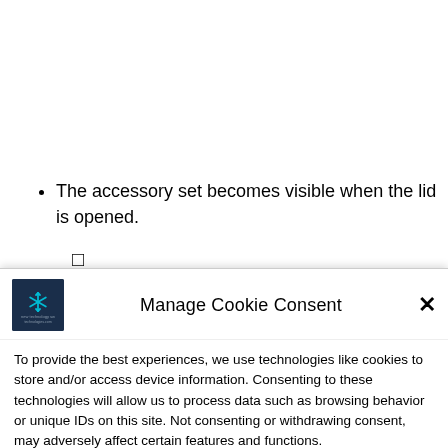The accessory set becomes visible when the lid is opened.
☐
[Figure (logo): Dark blue square logo with a snowflake-like icon and small text below]
Manage Cookie Consent
To provide the best experiences, we use technologies like cookies to store and/or access device information. Consenting to these technologies will allow us to process data such as browsing behavior or unique IDs on this site. Not consenting or withdrawing consent, may adversely affect certain features and functions.